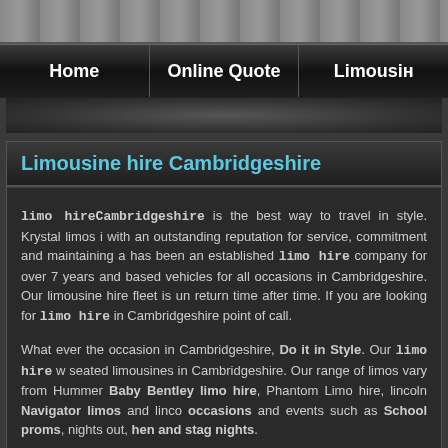[Figure (photo): Top image bar showing partial photo, cropped]
Home | Online Quote | Limousines
Limousine hire Cambridgeshire
limo hireCambridgeshire is the best way to travel in style. Krystal limos i with an outstanding reputation for service, commitment and maintaining a has been an established limo hire company for over 7 years and based vehicles for all occasions in Cambridgeshire. Our limousine hire fleet is un return time after time. If you are looking for limo hire in Cambridgeshire point of call.
What ever the occasion in Cambridgeshire, Do it in Style. Our limo hire w seated limousines in Cambridgeshire. Our range of limos vary from Hummer Baby Bentley limo hire, Phantom Limo hire, lincoln Navigator limos and linco occasions and events such as School proms, nights out, hen and stag nights.
Our limo hire Cambridgeshire service will provide you with the first class t destination in ultimate luxury and style. At Krystal Limos we provide Ca